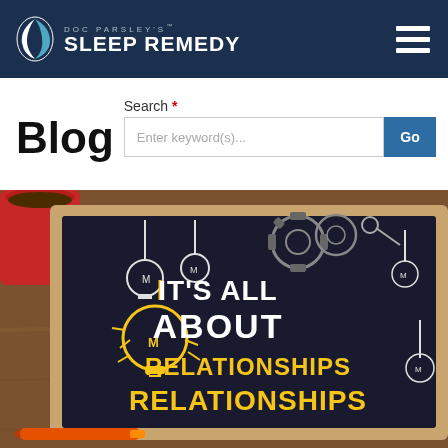[Figure (logo): Doc Parsley's Sleep Remedy logo — white crescent/leaf icon on dark navy background with white bold uppercase text 'DOC PARSLEY'S SLEEP REMEDY']
[Figure (other): Hamburger menu icon — three white horizontal bars on dark navy background]
Blog
Search *
Enter keyword(s)...
Go
[Figure (photo): Photo of a chalkboard on a wooden desk with a red coffee mug and orange pen. The chalkboard reads 'IT'S ALL ABOUT RELATIONSHIPS' in bold yellow and white chalk lettering with illustrated lightbulbs and gears around it.]